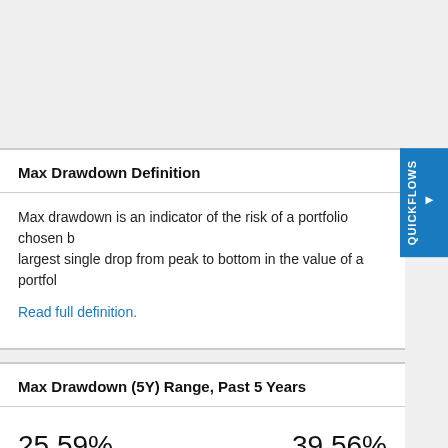Max Drawdown Definition
Max drawdown is an indicator of the risk of a portfolio chosen b... largest single drop from peak to bottom in the value of a portfol...
Read full definition.
Max Drawdown (5Y) Range, Past 5 Years
| Minimum | Maximum |
| --- | --- |
| 25.59% | 39.56% |
| SEP 2017 | MAR 2020 |